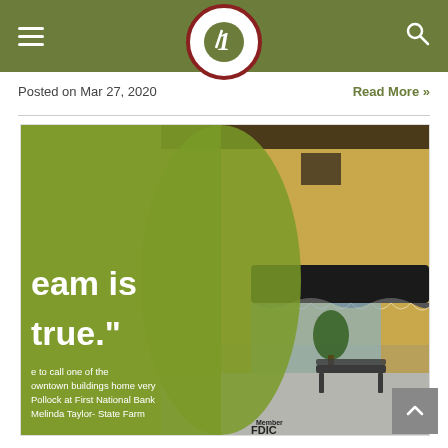First National Bank navigation header with logo
Posted on Mar 27, 2020
Read More »
[Figure (photo): Bank promotional image showing a downtown building exterior with a green overlay panel containing partial text: 'eam is true.' and credits including 'e to call one of the owntown buildings home very Pollock at First National Bank Melinda Taylor- State Farm'. Also shows FDIC member logo at bottom. Background shows a brick storefront with dark awnings and outdoor bench seating.]